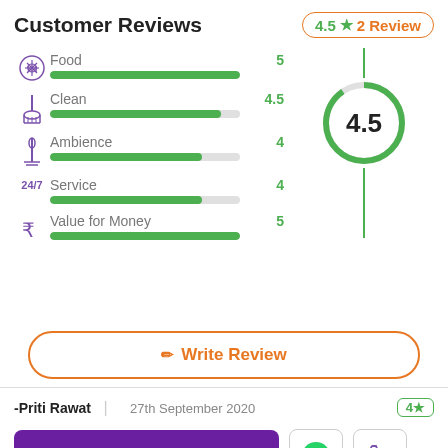Customer Reviews
4.5 ★ 2 Review
[Figure (bar-chart): Customer Review Ratings]
[Figure (other): Circular gauge showing overall rating of 4.5]
✎ Write Review
-Priti Rawat  |  27th September 2020
4★
Check August Offers